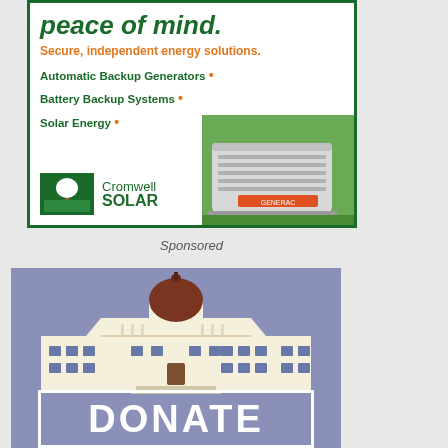[Figure (illustration): Cromwell Solar advertisement with green border. Large italic green bold text 'peace of mind.' followed by orange bold text 'Secure, independent energy solutions.' then green bold list items: 'Automatic Backup Generators •', 'Battery Backup Systems •', 'Solar Energy •'. Bottom left has Cromwell Solar logo with tree icon. Right side shows photo of a backup generator unit on grass.]
Sponsored
[Figure (illustration): Donate advertisement with periwinkle/slate blue background. Illustration of a capitol building with dome. Below is a rectangular banner with white border containing large white bold text 'DONATE'.]